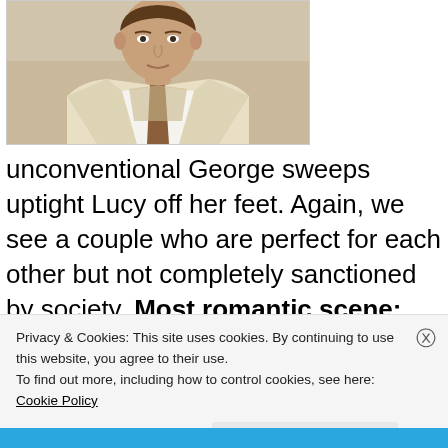[Figure (photo): Cropped photo of a man wearing a light beige suit jacket, white shirt, and brown tie, visible from mid-chest up]
unconventional George sweeps uptight Lucy off her feet. Again, we see a couple who are perfect for each other but not completely sanctioned by society. Most romantic scene: George and Lucy run across each other in a
Privacy & Cookies: This site uses cookies. By continuing to use this website, you agree to their use.
To find out more, including how to control cookies, see here: Cookie Policy
Close and accept